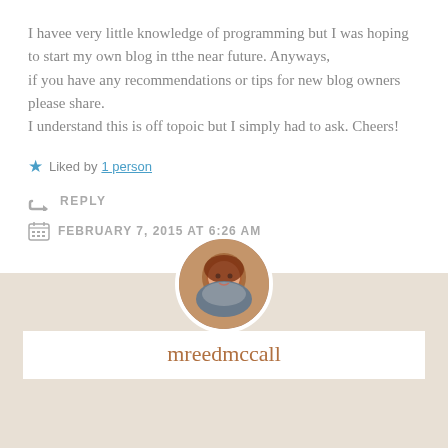I havee very little knowledge of programming but I was hoping to start my own blog in tthe near future. Anyways,
if you have any recommendations or tips for new blog owners please share.
I understand this is off topoic but I simply had to ask. Cheers!
★ Liked by 1 person
↪ REPLY
FEBRUARY 7, 2015 AT 6:26 AM
[Figure (photo): Circular avatar photo of a woman with reddish-brown hair]
mreedmccall